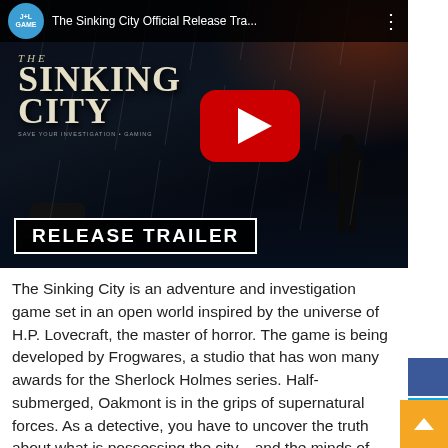[Figure (screenshot): YouTube video thumbnail for 'The Sinking City Official Release Tra...' showing a dark, rainy horror game scene with the game logo, a large YouTube play button, and 'RELEASE TRAILER' text overlay at the bottom. J+L GAME channel logo visible in top-left.]
The Sinking City is an adventure and investigation game set in an open world inspired by the universe of H.P. Lovecraft, the master of horror. The game is being developed by Frogwares, a studio that has won many awards for the Sherlock Holmes series. Half-submerged, Oakmont is in the grips of supernatural forces. As a detective, you have to uncover the truth about what is possessing the city... and the minds of its inhabitants. The limited Day One Edition includes The Investigator Pack which gives you an exclusive private investigator outfit, permanent access to a first aid kit a